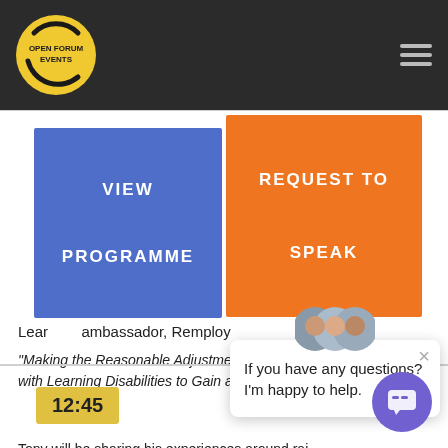[Figure (logo): Open Forum Events circular yellow logo with black text and arrow graphic on dark header bar]
VIEW
PROGRAMME
REQUEST TO
SPEAK
Learn ... ambassador, Remploy
"Making the Reasonable Adjustments Needed for People with Learning Disabilities to Gain and Sustain Employment"
Tony will be sharing his experiences around rai... disabilities.
If you have any questions? I'm happy to help.
12:45